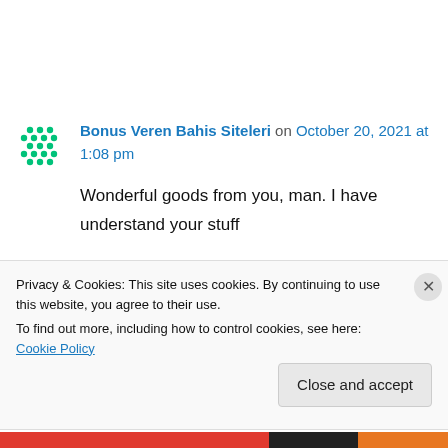Bonus Veren Bahis Siteleri on October 20, 2021 at 1:08 pm
Wonderful goods from you, man. I have understand your stuff previous to and you are just extremely magnificent.
Privacy & Cookies: This site uses cookies. By continuing to use this website, you agree to their use.
To find out more, including how to control cookies, see here: Cookie Policy